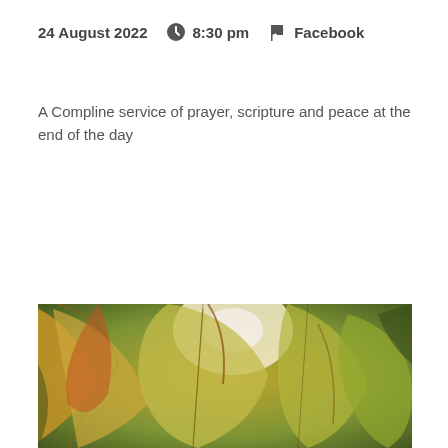24 August 2022   🕐 8:30 pm   🏴 Facebook
A Compline service of prayer, scripture and peace at the end of the day
Event Details
[Figure (photo): Close-up photograph of autumn leaves, yellow-green and orange-red tones, backlit with bright light source visible through foliage]